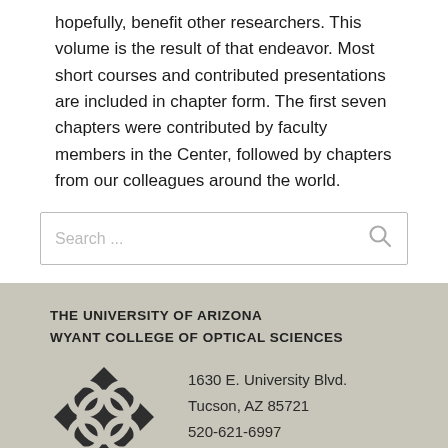hopefully, benefit other researchers. This volume is the result of that endeavor. Most short courses and contributed presentations are included in chapter form. The first seven chapters were contributed by faculty members in the Center, followed by chapters from our colleagues around the world.
[Figure (other): Search box with placeholder text 'Search ...' and a magnifying glass icon]
THE UNIVERSITY OF ARIZONA
WYANT COLLEGE OF OPTICAL SCIENCES
1630 E. University Blvd.
Tucson, AZ 85721
520-621-6997
info@optics.arizona.edu
[Figure (logo): Wyant College of Optical Sciences logo — diamond-shaped dark emblem with interlocking circular optical elements]